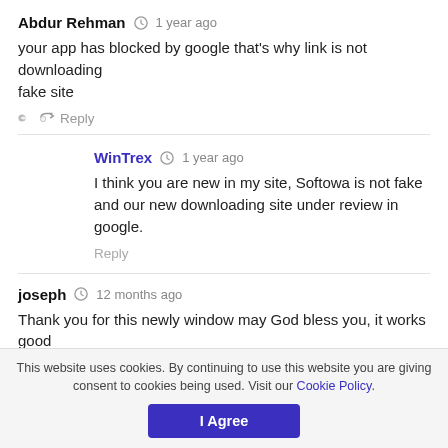Abdur Rehman · 1 year ago
your app has blocked by google that's why link is not downloading
fake site
Reply
WinTrex · 1 year ago
I think you are new in my site, Softowa is not fake and our new downloading site under review in google.
Reply
joseph · 12 months ago
Thank you for this newly window may God bless you, it works good
This website uses cookies. By continuing to use this website you are giving consent to cookies being used. Visit our Cookie Policy.
I Agree